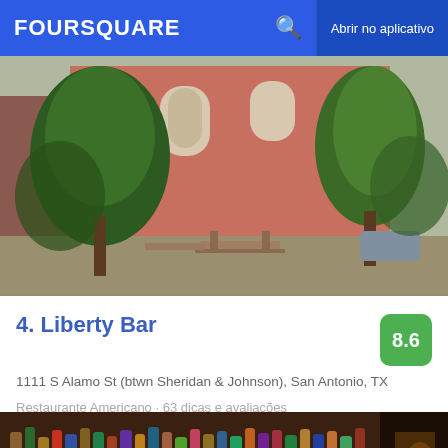FOURSQUARE  Abrir no aplicativo
[Figure (photo): Exterior of a building with salmon/red brick facade, arched window, trees in foreground, picnic tables in courtyard]
4. Liberty Bar
8.6
1111 S Alamo St (btwn Sheridan & Johnson), San Antonio, TX
Restaurante Americano · 63 dicas e avaliações
[Figure (photo): Bar interior showing shelves lined with numerous liquor bottles]